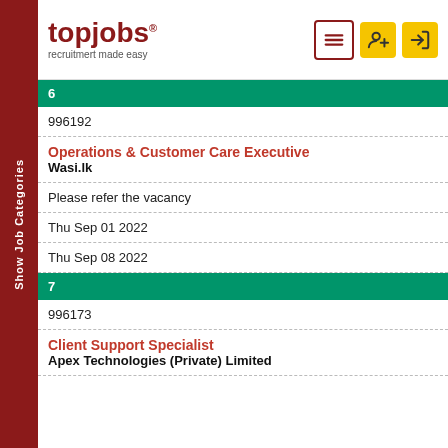[Figure (logo): topjobs logo with tagline 'recruitmert made easy' and navigation icons]
6
996192
Operations & Customer Care Executive
Wasi.lk
Please refer the vacancy
Thu Sep 01 2022
Thu Sep 08 2022
7
996173
Client Support Specialist
Apex Technologies (Private) Limited